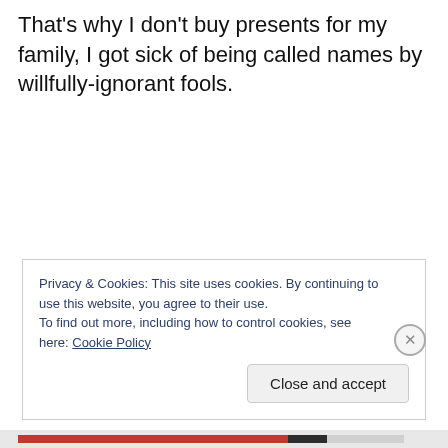That's why I don't buy presents for my family, I got sick of being called names by willfully-ignorant fools.
Privacy & Cookies: This site uses cookies. By continuing to use this website, you agree to their use.
To find out more, including how to control cookies, see here: Cookie Policy
Close and accept